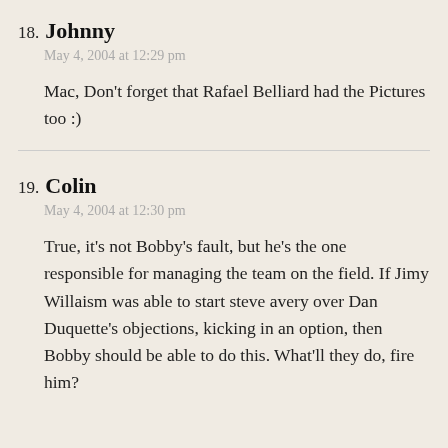18. Johnny
May 4, 2004 at 12:29 pm
Mac, Don't forget that Rafael Belliard had the Pictures too :)
19. Colin
May 4, 2004 at 12:30 pm
True, it's not Bobby's fault, but he's the one responsible for managing the team on the field. If Jimy Willaism was able to start steve avery over Dan Duquette's objections, kicking in an option, then Bobby should be able to do this. What'll they do, fire him?